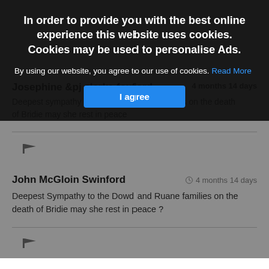In order to provide you with the best online experience this website uses cookies. Cookies may be used to personalise Ads.
By using our website, you agree to our use of cookies. Read More
I agree
Josephine &pj clarke foxford
Deepest sympathy to the ... families on the death of Bridie may she rest in peace
John McGloin Swinford
4 months 14 days
Deepest Sympathy to the Dowd and Ruane families on the death of Bridie may she rest in peace ?